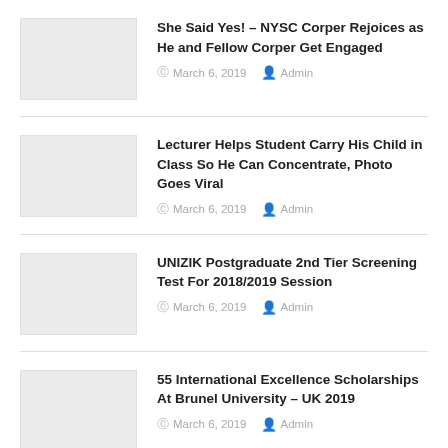She Said Yes! – NYSC Corper Rejoices as He and Fellow Corper Get Engaged | March 6, 2019 | Admin
Lecturer Helps Student Carry His Child in Class So He Can Concentrate, Photo Goes Viral | March 6, 2019 | Admin
UNIZIK Postgraduate 2nd Tier Screening Test For 2018/2019 Session | March 6, 2019 | Admin
55 International Excellence Scholarships At Brunel University – UK 2019 | March 6, 2019 | Admin